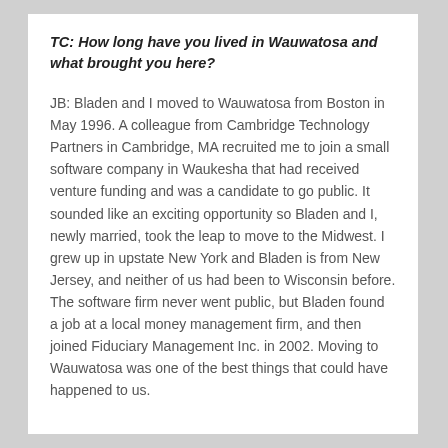TC: How long have you lived in Wauwatosa and what brought you here?
JB: Bladen and I moved to Wauwatosa from Boston in May 1996. A colleague from Cambridge Technology Partners in Cambridge, MA recruited me to join a small software company in Waukesha that had received venture funding and was a candidate to go public. It sounded like an exciting opportunity so Bladen and I, newly married, took the leap to move to the Midwest. I grew up in upstate New York and Bladen is from New Jersey, and neither of us had been to Wisconsin before. The software firm never went public, but Bladen found a job at a local money management firm, and then joined Fiduciary Management Inc. in 2002. Moving to Wauwatosa was one of the best things that could have happened to us.